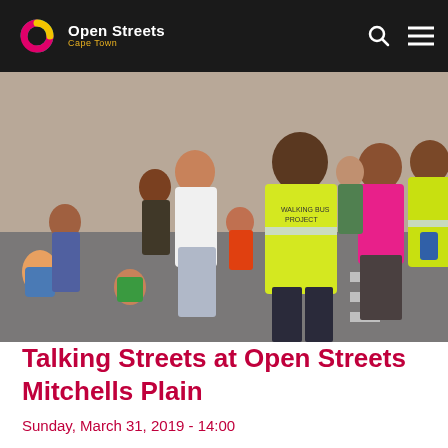Open Streets Cape Town
[Figure (photo): Group of adults and children on a street, some wearing yellow high-visibility vests labeled 'Walking Bus Project'. People are interacting and children are playing on the asphalt.]
Talking Streets at Open Streets Mitchells Plain
Sunday, March 31, 2019 - 14:00